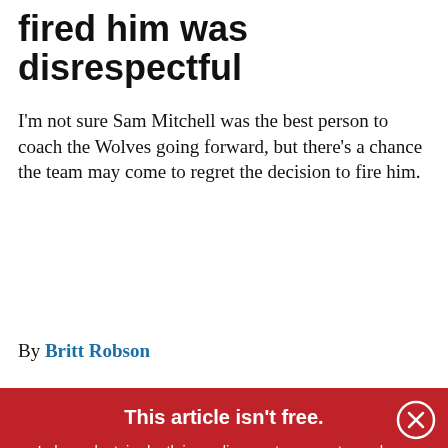Mitchell, the way the Wolves fired him was disrespectful
I'm not sure Sam Mitchell was the best person to coach the Wolves going forward, but there's a chance the team may come to regret the decision to fire him.
By Britt Robson
This article isn't free. Independent, in-depth journalism costs money to produce. MinnPost's nonprofit reporting is available paywall-free thanks to the financial support of loyal readers like you. Will you make a tax-deductible donation today?
[Figure (other): DONATE NOW button with heart icon on gold background]